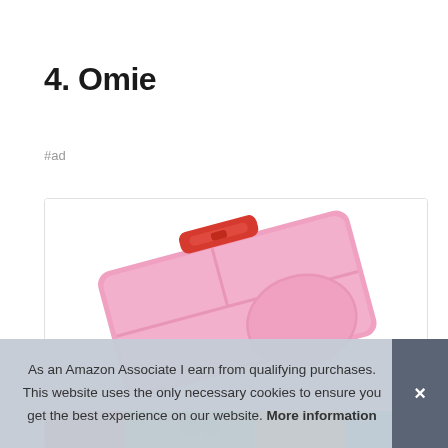4. Omie
#ad
[Figure (photo): A pink bento-style lunchbox with red handle/latch, shown at an angle, with a compartmentalized tray visible. Bottom strip shows colorful food items.]
As an Amazon Associate I earn from qualifying purchases. This website uses the only necessary cookies to ensure you get the best experience on our website. More information